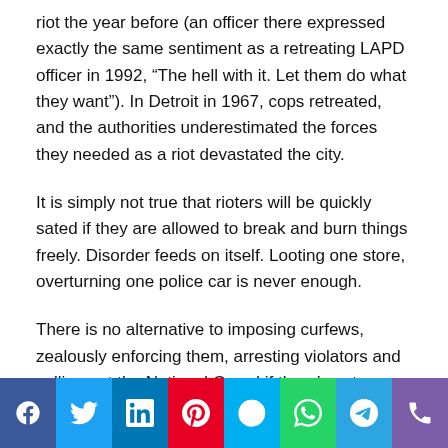riot the year before (an officer there expressed exactly the same sentiment as a retreating LAPD officer in 1992, “The hell with it. Let them do what they want”). In Detroit in 1967, cops retreated, and the authorities underestimated the forces they needed as a riot devastated the city.
It is simply not true that rioters will be quickly sated if they are allowed to break and burn things freely. Disorder feeds on itself. Looting one store, overturning one police car is never enough.
There is no alternative to imposing curfews, zealously enforcing them, arresting violators and calling out the National Guard if there’s not enough police manpower for the job. This doesn’t escalate the violence, it stops it.
[Figure (other): Social media share buttons bar: Facebook, Twitter, LinkedIn, Pinterest, Skype, WhatsApp, Telegram, Phone]